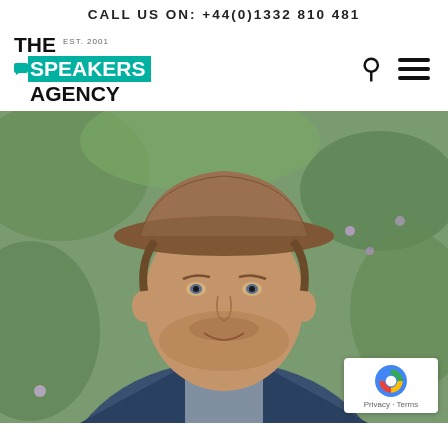CALL US ON: +44(0)1332 810 481
[Figure (logo): The Speakers Agency logo with teal background on SPEAKERS text, EST. 2001 text, and chat bubble icon]
[Figure (photo): Portrait photo of a man wearing a brown hat and blue jacket, smiling, with garden foliage in background]
Privacy · Terms